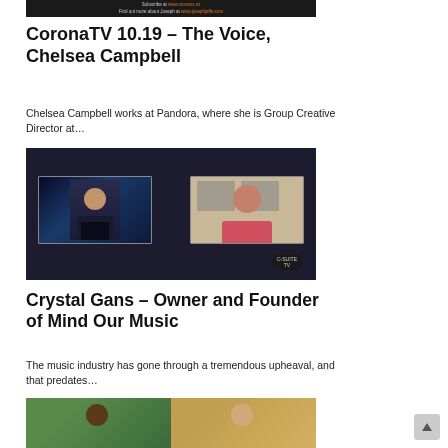[Figure (screenshot): Dark banner image with text about subscribing and finding out more about Joseph]
CoronaTV 10.19 – The Voice, Chelsea Campbell
Chelsea Campbell works at Pandora, where she is Group Creative Director at…
[Figure (screenshot): Video call screenshot showing two people in separate video frames on a dark background with C-Suite TV badge]
Crystal Gans – Owner and Founder of Mind Our Music
The music industry has gone through a tremendous upheaval, and that predates…
[Figure (photo): Photo of two people side by side]